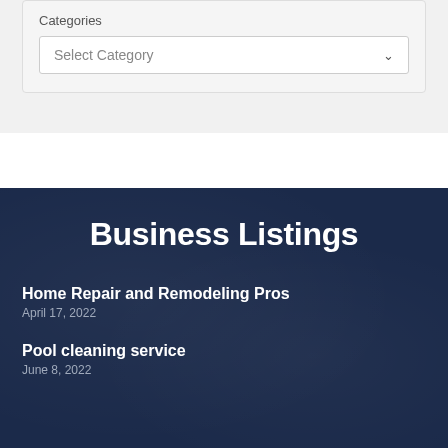Categories
Select Category
Business Listings
Home Repair and Remodeling Pros
April 17, 2022
Pool cleaning service
June 8, 2022